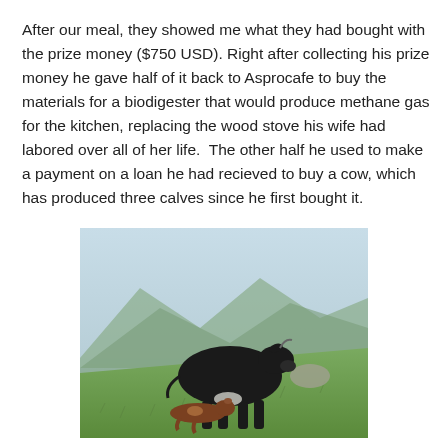After our meal, they showed me what they had bought with the prize money ($750 USD). Right after collecting his prize money he gave half of it back to Asprocafe to buy the materials for a biodigester that would produce methane gas for the kitchen, replacing the wood stove his wife had labored over all of her life.  The other half he used to make a payment on a loan he had recieved to buy a cow, which has produced three calves since he first bought it.
[Figure (photo): A black cow standing on a green grassy hillside with mountains in the background, and a small brown calf lying in the grass beside it.]